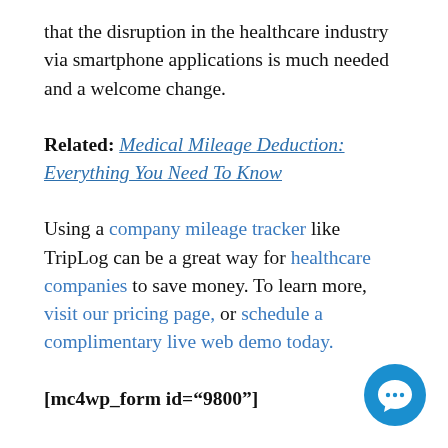that the disruption in the healthcare industry via smartphone applications is much needed and a welcome change.
Related: Medical Mileage Deduction: Everything You Need To Know
Using a company mileage tracker like TripLog can be a great way for healthcare companies to save money. To learn more, visit our pricing page, or schedule a complimentary live web demo today.
[mc4wp_form id="9800"]